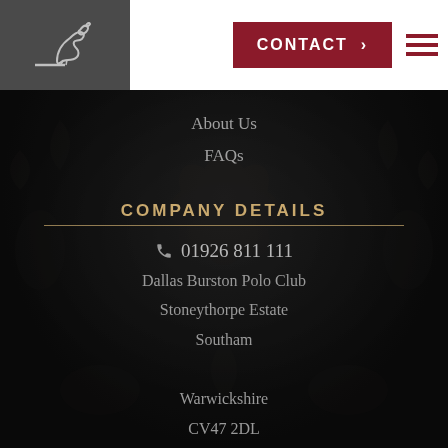[Figure (logo): Horse/equestrian logo — white outline of a jumping horse on dark grey background]
[Figure (screenshot): Red CONTACT button with chevron arrow and burgundy hamburger menu icon]
About Us
FAQs
COMPANY DETAILS
01926 811 111
Dallas Burston Polo Club
Stoneythorpe Estate
Southam
Warwickshire
CV47 2DL
SOCIAL MEDIA
[Figure (illustration): Social media icons: Facebook, Twitter, Pinterest, Instagram]